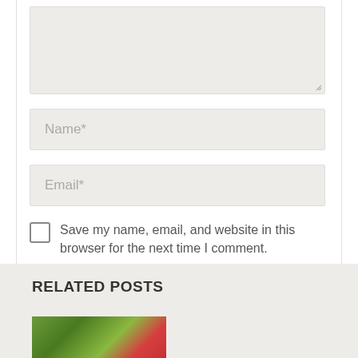[Figure (screenshot): Textarea input field (comment box) shown at top, light beige background, with resize handle at bottom right corner.]
Name*
Email*
Save my name, email, and website in this browser for the next time I comment.
SUBMIT COMMENT
RELATED POSTS
[Figure (photo): Partial photo of foliage/plants visible at bottom of page.]